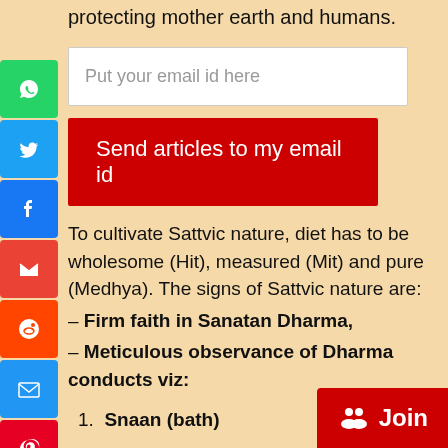protecting mother earth and humans.
Put your email id here
Send articles to my email id
To cultivate Sattvic nature, diet has to be wholesome (Hit), measured (Mit) and pure (Medhya). The signs of Sattvic nature are:
– Firm faith in Sanatan Dharma,
– Meticulous observance of Dharma conducts viz:
1. Snaan (bath)
2. Sandhya (prayer)